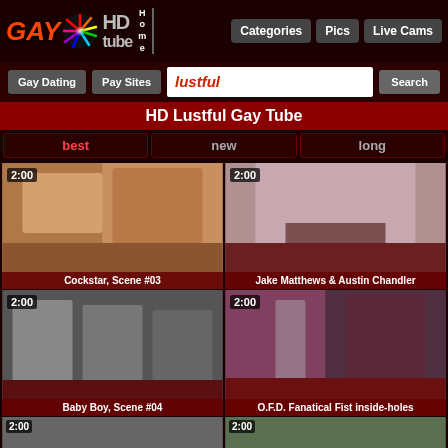GAY HD tube Home | Categories | Pics | Live Cams
Gay Dating | Pay Sites | lustful | Search
HD Lustful Gay Tube
best | new | long
[Figure (screenshot): Video thumbnail: Cockstar, Scene #03, 2:00]
[Figure (screenshot): Video thumbnail: Jake Matthews & Austin Chandler, 2:00]
[Figure (screenshot): Video thumbnail: Baby Boy, Scene #04, 2:00]
[Figure (screenshot): Video thumbnail: O.F.D. Fanatical Fist inside-holes, 2:00]
[Figure (screenshot): Video thumbnail: bottom-left, 2:00]
[Figure (screenshot): Video thumbnail: bottom-right, 2:00]